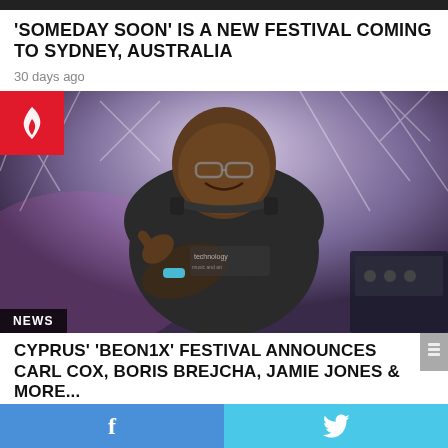'SOMEDAY SOON' IS A NEW FESTIVAL COMING TO SYDNEY, AUSTRALIA
30 days ago
[Figure (photo): DJ performing on stage, pointing at camera, wearing headphones around neck and a dark t-shirt with 'technology' text, stage lighting in background. Red fire badge icon in top-left corner. 'NEWS' label in bottom-left corner.]
CYPRUS' 'BEON1X' FESTIVAL ANNOUNCES CARL COX, BORIS BREJCHA, JAMIE JONES & MORE...
f   twitter bird icon